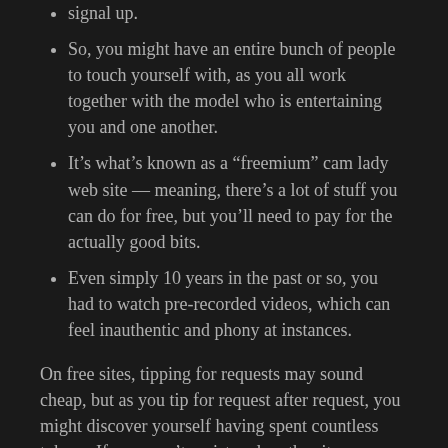signal up.
So, you might have an entire bunch of people to touch yourself with, as you all work together with the model who is entertaining you and one another.
It’s what’s known as a “freemium” cam lady web site — meaning, there’s a lot of stuff you can do for free, but you’ll need to pay for the actually good bits.
Even simply 10 years in the past or so, you had to watch pre-recorded videos, which can feel inauthentic and phony at instances.
On free sites, tipping for requests may sound cheap, but as you tip for request after request, you might discover yourself having spent countless tokens. If you aren’t registered on the site, your time within the free rooms might be limited to simply a few minutes, and then you